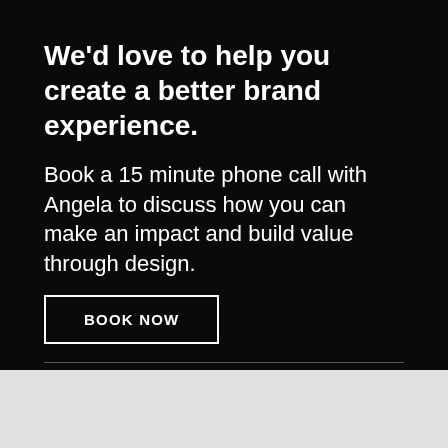We'd love to help you create a better brand experience.
Book a 15 minute phone call with Angela to discuss how you can make an impact and build value through design.
BOOK NOW